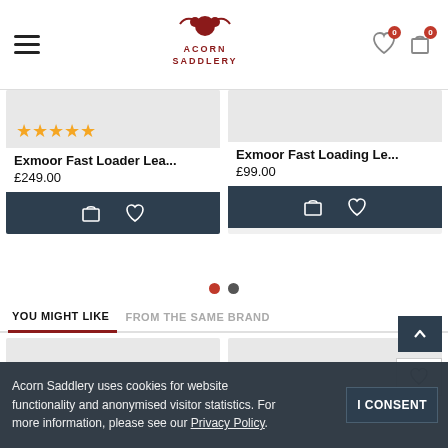Acorn Saddlery
[Figure (screenshot): Product card: Exmoor Fast Loader Lea... with 5 stars, price £249.00 and action buttons]
Exmoor Fast Loader Lea...
£249.00
[Figure (screenshot): Product card: Exmoor Fast Loading Le... with price £99.00 and action buttons]
Exmoor Fast Loading Le...
£99.00
YOU MIGHT LIKE    FROM THE SAME BRAND
[Figure (screenshot): Empty product card placeholder (grey box)]
[Figure (screenshot): Empty product card placeholder (grey box)]
Acorn Saddlery uses cookies for website functionality and anonymised visitor statistics. For more information, please see our Privacy Policy.